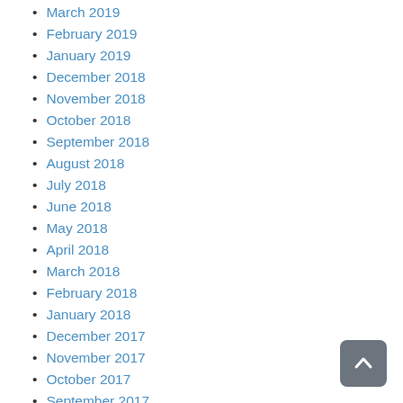March 2019
February 2019
January 2019
December 2018
November 2018
October 2018
September 2018
August 2018
July 2018
June 2018
May 2018
April 2018
March 2018
February 2018
January 2018
December 2017
November 2017
October 2017
September 2017
August 2017
July 2017